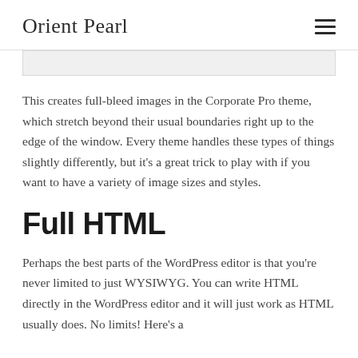Orient Pearl
This creates full-bleed images in the Corporate Pro theme, which stretch beyond their usual boundaries right up to the edge of the window. Every theme handles these types of things slightly differently, but it's a great trick to play with if you want to have a variety of image sizes and styles.
Full HTML
Perhaps the best parts of the WordPress editor is that you're never limited to just WYSIWYG. You can write HTML directly in the WordPress editor and it will just work as HTML usually does. No limits! Here's a